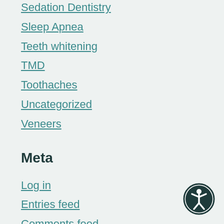Sedation Dentistry
Sleep Apnea
Teeth whitening
TMD
Toothaches
Uncategorized
Veneers
Meta
Log in
Entries feed
Comments feed
WordPress.org
[Figure (illustration): Accessibility icon — circular badge with a human figure symbol]